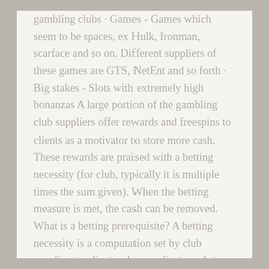gambling clubs · Games - Games which seem to be spaces, ex Hulk, Ironman, scarface and so on. Different suppliers of these games are GTS, NetEnt and so forth · Big stakes - Slots with extremely high bonanzas A large portion of the gambling club suppliers offer rewards and freespins to clients as a motivator to store more cash. These rewards are praised with a betting necessity (for club, typically it is multiple times the sum given). When the betting measure is met, the cash can be removed. What is a betting prerequisite? A betting necessity is a computation set by club suppliers to clients where a client needs to play the prerequisite worth of wagers to have the option to pull out his cash. Allow us to take a model, with the goal that we can see